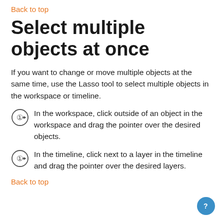Back to top
Select multiple objects at once
If you want to change or move multiple objects at the same time, use the Lasso tool to select multiple objects in the workspace or timeline.
In the workspace, click outside of an object in the workspace and drag the pointer over the desired objects.
In the timeline, click next to a layer in the timeline and drag the pointer over the desired layers.
Back to top